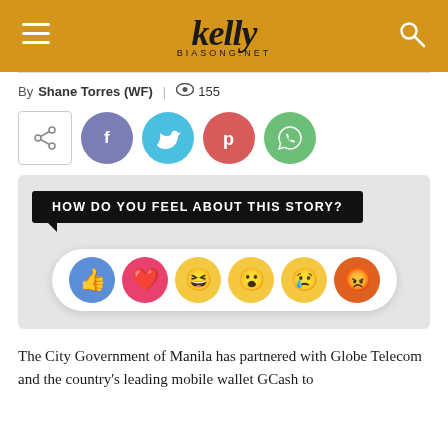kelly BIASONG.NET
By Shane Torres (WF) | 155
[Figure (screenshot): Social share buttons: share icon button, Facebook (blue-purple circle), Twitter (cyan circle), Pinterest (red circle), WhatsApp (green circle)]
[Figure (screenshot): Facebook-style reactions widget: speech bubble asking 'HOW DO YOU FEEL ABOUT THIS STORY?' with reaction emojis: thumbs up (blue), heart (pink/red), haha face, wow face, sad face, angry face]
The City Government of Manila has partnered with Globe Telecom and the country's leading mobile wallet GCash to